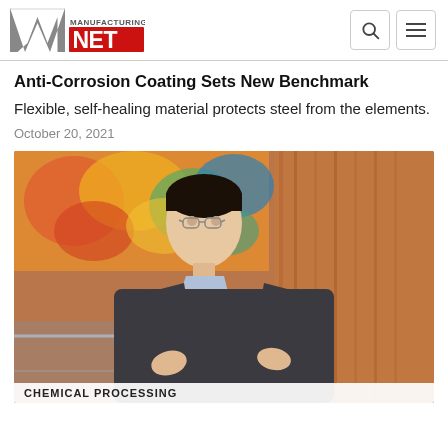Manufacturing.net
Anti-Corrosion Coating Sets New Benchmark
Flexible, self-healing material protects steel from the elements.
October 20, 2021
[Figure (photo): A man with glasses wearing a dark sweater standing with arms crossed on a staircase, with colorful artwork visible in the background and wood paneling on the right. A label at the bottom reads 'CHEMICAL PROCESSING'.]